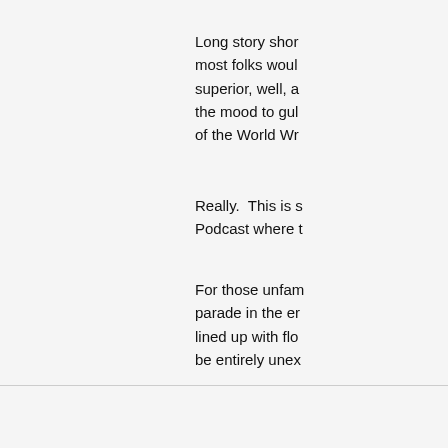Long story shor most folks woul superior, well, a the mood to gul of the World Wr
Really.  This is s Podcast where t
For those unfam parade in the er lined up with flo be entirely unex